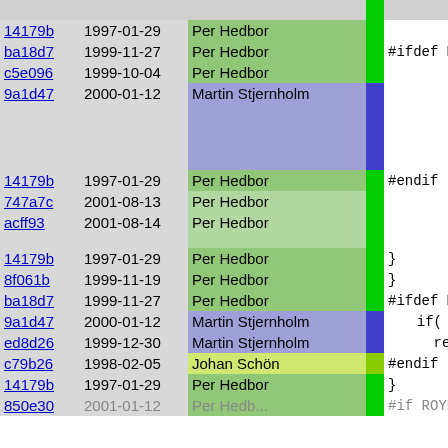| hash | date | author | bar | code |
| --- | --- | --- | --- | --- |
| 14179b | 1997-01-29 | Per Hedbor |  | { |
| ba18d7 | 1999-11-27 | Per Hedbor |  | #ifdef MOD |
| c5e096 | 1999-10-04 | Per Hedbor |  | if( |
| 9a1d47 | 2000-01-12 | Martin Stjernholm |  | if |
| 9a1d47 | 2000-01-12 | Martin Stjernholm |  | el |
| 14179b | 1997-01-29 | Per Hedbor |  | #endif |
| 747a7c | 2001-08-13 | Per Hedbor |  | forc |
| acff93 | 2001-08-14 | Per Hedbor |  | enab forc |
| 14179b | 1997-01-29 | Per Hedbor |  | } |
| 8f061b | 1999-11-19 | Per Hedbor |  | } |
| ba18d7 | 1999-11-27 | Per Hedbor |  | #ifdef MOD |
| 9a1d47 | 2000-01-12 | Martin Stjernholm |  | if( wr & |
| ed8d26 | 1999-12-30 | Martin Stjernholm |  | report |
| c79b26 | 1998-02-05 | Johan Schön |  | #endif |
| 14179b | 1997-01-29 | Per Hedbor |  | } |